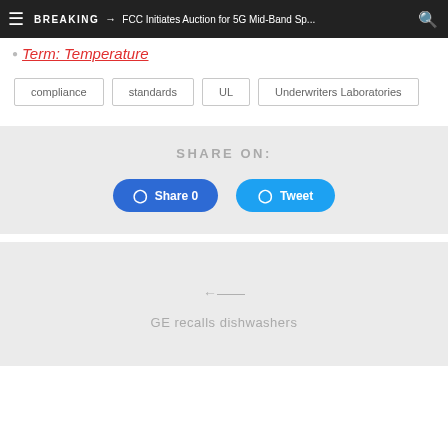BREAKING → FCC Initiates Auction for 5G Mid-Band Sp...
Term: Temperature
compliance
standards
UL
Underwriters Laboratories
SHARE ON:
Share 0
Tweet
GE recalls dishwashers